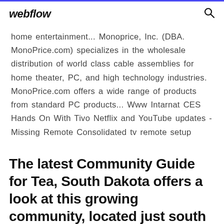webflow
home entertainment... Monoprice, Inc. (DBA. MonoPrice.com) specializes in the wholesale distribution of world class cable assemblies for home theater, PC, and high technology industries. MonoPrice.com offers a wide range of products from standard PC products... Www Intarnat CES Hands On With Tivo Netflix and YouTube updates - Missing Remote Consolidated tv remote setup
The latest Community Guide for Tea, South Dakota offers a look at this growing community, located just south of Sioux Falls. Inside